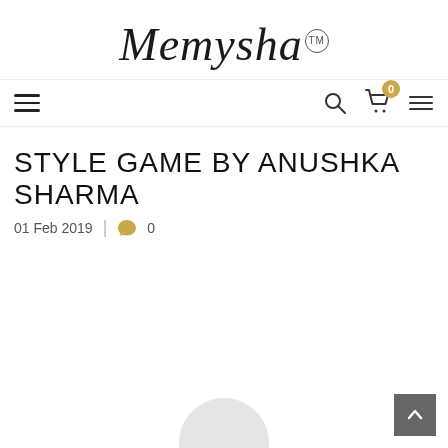Memysha™
STYLE GAME BY ANUSHKA SHARMA
01 Feb 2019  |  0